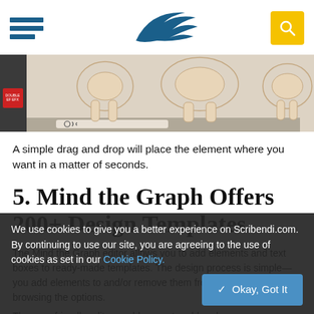Navigation header with hamburger menu, Scribendi logo (feather/wing), and search button
[Figure (screenshot): Screenshot of a medical/anatomical design editor interface showing skeletal hip/pelvis bones on a light beige background, with a sidebar panel on the left and a toolbar at the bottom]
A simple drag and drop will place the element where you want in a matter of seconds.
5. Mind the Graph Offers 200+ Design Templates
The Mind the Graph editor allows you to add elements and text boxes to ready-made templates. The design process is simple—you add elements to and/or remove them from your design while browsing the options.
We use cookies to give you a better experience on Scribendi.com. By continuing to use our site, you are agreeing to the use of cookies as set in our Cookie Policy.
The user-friendly editor enables you to add and remove